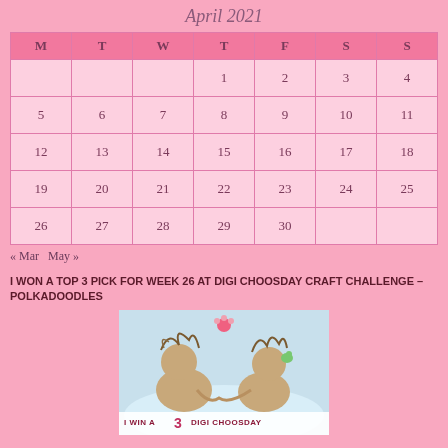April 2021
| M | T | W | T | F | S | S |
| --- | --- | --- | --- | --- | --- | --- |
|  |  |  | 1 | 2 | 3 | 4 |
| 5 | 6 | 7 | 8 | 9 | 10 | 11 |
| 12 | 13 | 14 | 15 | 16 | 17 | 18 |
| 19 | 20 | 21 | 22 | 23 | 24 | 25 |
| 26 | 27 | 28 | 29 | 30 |  |  |
« Mar  May »
I WON A TOP 3 PICK FOR WEEK 26 AT DIGI CHOOSDAY CRAFT CHALLENGE – POLKADOODLES
[Figure (photo): Award badge image showing two cartoon fairy/troll characters with text 'I WIN A 3 DIGI CHOOSDAY' at the bottom]